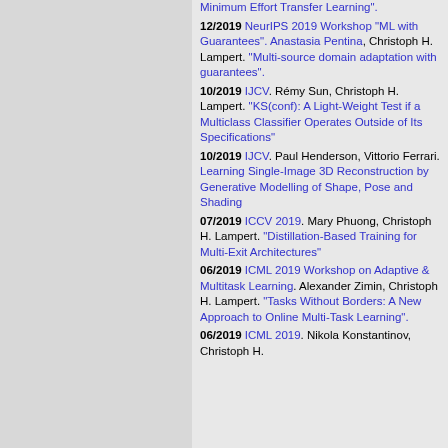Minimum Effort Transfer Learning".
12/2019 NeurIPS 2019 Workshop "ML with Guarantees". Anastasia Pentina, Christoph H. Lampert. "Multi-source domain adaptation with guarantees".
10/2019 IJCV. Rémy Sun, Christoph H. Lampert. "KS(conf): A Light-Weight Test if a Multiclass Classifier Operates Outside of Its Specifications"
10/2019 IJCV. Paul Henderson, Vittorio Ferrari. Learning Single-Image 3D Reconstruction by Generative Modelling of Shape, Pose and Shading
07/2019 ICCV 2019. Mary Phuong, Christoph H. Lampert. "Distillation-Based Training for Multi-Exit Architectures"
06/2019 ICML 2019 Workshop on Adaptive & Multitask Learning. Alexander Zimin, Christoph H. Lampert. "Tasks Without Borders: A New Approach to Online Multi-Task Learning".
06/2019 ICML 2019. Nikola Konstantinov, Christoph H.